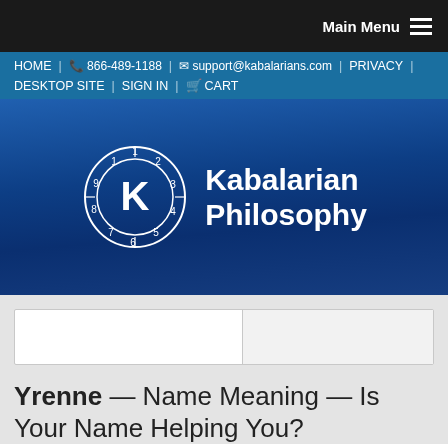Main Menu
HOME | 866-489-1188 | support@kabalarians.com | PRIVACY | DESKTOP SITE | SIGN IN | CART
[Figure (logo): Kabalarian Philosophy logo with circular numerology clock bearing the letter K and numbers 1-9, with the text Kabalarian Philosophy to the right]
Yrenne — Name Meaning — Is Your Name Helping You?